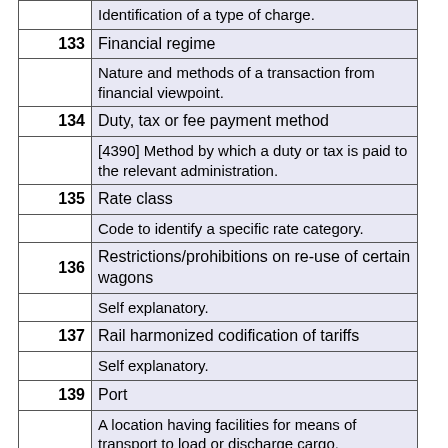| # | Term / Definition |
| --- | --- |
|  | Identification of a type of charge. |
| 133 | Financial regime |
|  | Nature and methods of a transaction from financial viewpoint. |
| 134 | Duty, tax or fee payment method |
|  | [4390] Method by which a duty or tax is paid to the relevant administration. |
| 135 | Rate class |
|  | Code to identify a specific rate category. |
| 136 | Restrictions/prohibitions on re-use of certain wagons |
|  | Self explanatory. |
| 137 | Rail harmonized codification of tariffs |
|  | Self explanatory. |
| 139 | Port |
|  | A location having facilities for means of transport to load or discharge cargo. |
| 140 | Area |
|  | Codes for specific geographic areas e.g. seas, straits, basins etc. |
| 141 | Forwarding restrictions |
|  | Self explanatory. |